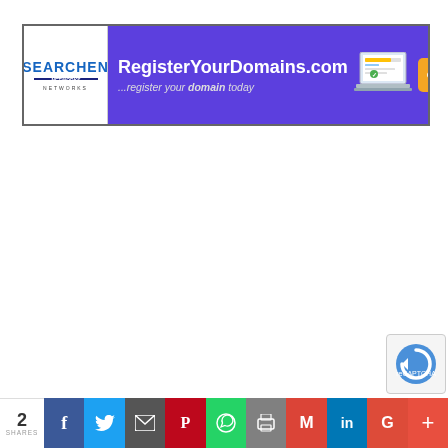[Figure (screenshot): Banner advertisement for RegisterYourDomains.com by Searchen Networks. Purple background with white bold text 'RegisterYourDomains.com' and subtext '...register your domain today', a laptop illustration, and an orange 'Get Started' call-to-action button. Left panel is white with Searchen Networks logo.]
[Figure (screenshot): reCAPTCHA badge in lower right corner]
[Figure (infographic): Social share bar at the bottom showing share count '2 SHARES' and colored buttons for Facebook (blue), Twitter (light blue), Email/envelope (dark gray), Pinterest (red), WhatsApp (green), Print (gray), Gmail (red), LinkedIn (blue), Google+ (red-orange), and a plus/more button (orange-red).]